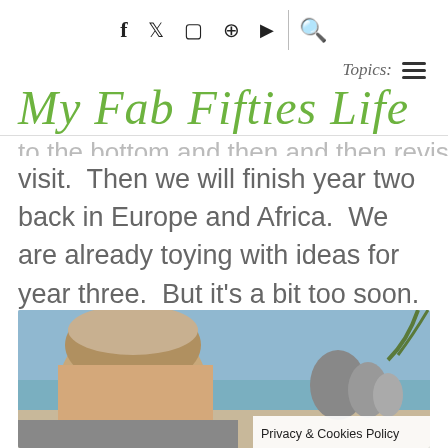Social icons: f, twitter, instagram, pinterest, youtube, search
Topics: ≡
My Fab Fifties Life
to the bottom and then revisit. Then we will finish year two back in Europe and Africa. We are already toying with ideas for year three. But it's a bit too soon. Let's not get
[Figure (photo): Partial photo of a man on a rocky beach with ocean and large boulders visible in background. 'Privacy & Cookies Policy' overlay in lower right.]